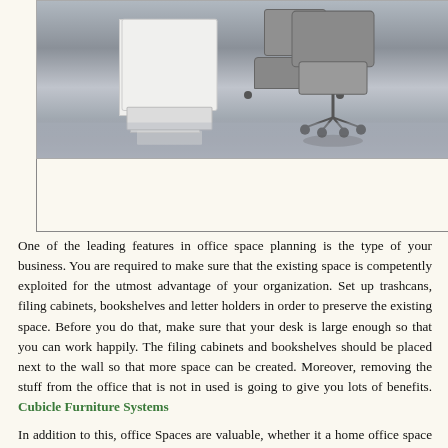[Figure (photo): Office furniture photo showing a white desk and an office chair with wheels on a reflective floor]
One of the leading features in office space planning is the type of your business. You are required to make sure that the existing space is competently exploited for the utmost advantage of your organization. Set up trashcans, filing cabinets, bookshelves and letter holders in order to preserve the existing space. Before you do that, make sure that your desk is large enough so that you can work happily. The filing cabinets and bookshelves should be placed next to the wall so that more space can be created. Moreover, removing the stuff from the office that is not in used is going to give you lots of benefits. Cubicle Furniture Systems
In addition to this, office Spaces are valuable, whether it a home office space or a commercial office space. You do require planning its design with immense research and care. Above all, you must guarantee you get sufficient work area to function well and the vital standards being office furniture which must assure that the efficiency of the work is improved at all times. The whole office must have a sense of utility and functionality. The office furniture selected should be of good quality and must be movable. This kind of furniture guarantees that you can modify the layout of your office in case you discover a better alternative system.
Here are few tips by which you can reconfigure and Install furniture in office